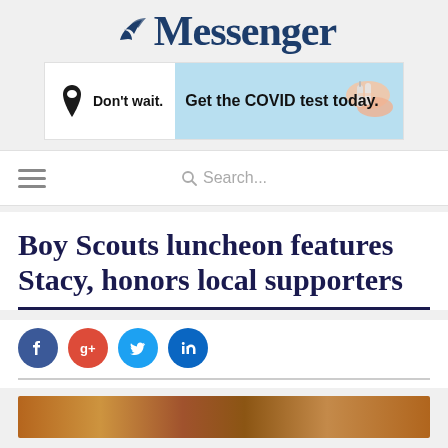Messenger
[Figure (infographic): Alabama COVID test advertisement banner: Alabama state silhouette icon, text 'Don't wait. Get the COVID test today.' with hands holding a test kit on blue background]
[Figure (screenshot): Navigation bar with hamburger menu icon and search bar]
Boy Scouts luncheon features Stacy, honors local supporters
[Figure (infographic): Social media share buttons: Facebook, Google+, Twitter, LinkedIn]
[Figure (photo): Partial bottom strip showing brick or wooden surface photo]